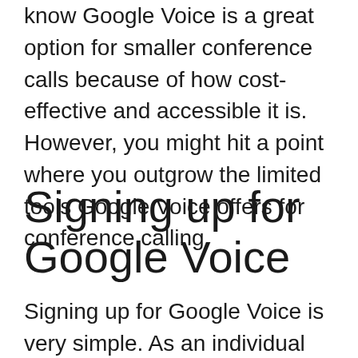know Google Voice is a great option for smaller conference calls because of how cost-effective and accessible it is. However, you might hit a point where you outgrow the limited tools Google Voice offers for conference calling.
Signing up for Google Voice
Signing up for Google Voice is very simple. As an individual user, you can go to: https://voice.google.com/ and sign up for free if you already have a Google account. If you don't have a Google account, quickly